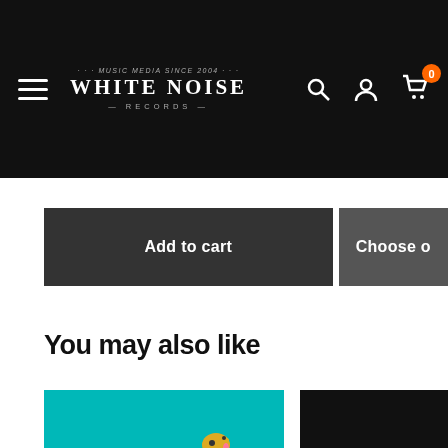White Noise Records navigation header
Add to cart
Choose o…
You may also like
[Figure (illustration): Cartoon album cover on teal background with animated characters including a person in a cowboy hat, a giraffe, and a monster on a vehicle]
[Figure (photo): Album cover with dark background showing text 'The M' in white italic script and red theater seats below]